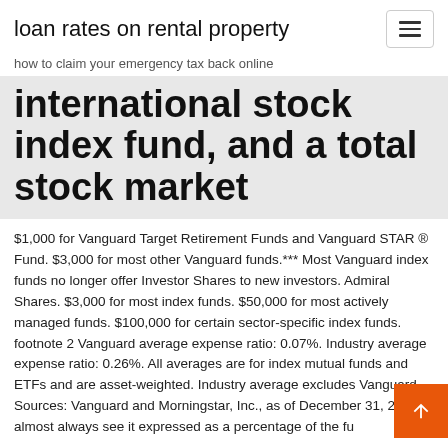loan rates on rental property
how to claim your emergency tax back online
international stock index fund, and a total stock market
$1,000 for Vanguard Target Retirement Funds and Vanguard STAR ® Fund. $3,000 for most other Vanguard funds.*** Most Vanguard index funds no longer offer Investor Shares to new investors. Admiral Shares. $3,000 for most index funds. $50,000 for most actively managed funds. $100,000 for certain sector-specific index funds. footnote 2 Vanguard average expense ratio: 0.07%. Industry average expense ratio: 0.26%. All averages are for index mutual funds and ETFs and are asset-weighted. Industry average excludes Vanguard. Sources: Vanguard and Morningstar, Inc., as of December 31, 2018. almost always see it expressed as a percentage of the fu almost always see it expressed as a percentage for f